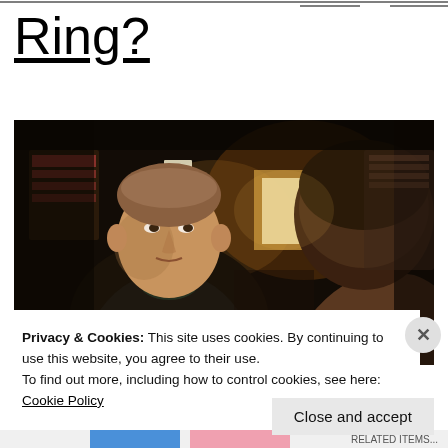Ring?
[Figure (photo): Two men facing each other in a dimly lit scene. The man on the left faces the camera, wearing a dark jacket. The man on the right has his back to camera, wearing a brown jacket.]
Privacy & Cookies: This site uses cookies. By continuing to use this website, you agree to their use.
To find out more, including how to control cookies, see here: Cookie Policy
Close and accept